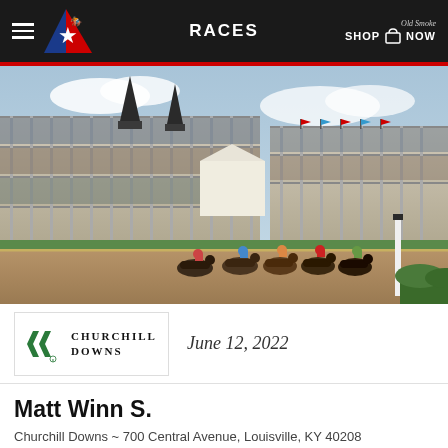RACES
[Figure (photo): Aerial photograph of Churchill Downs racetrack with packed grandstands full of spectators and a group of horses racing on the dirt track in the foreground. The twin spires of Churchill Downs are visible in the background.]
[Figure (logo): Churchill Downs logo with green double arrow / chevron icon and text 'CHURCHILL DOWNS']
June 12, 2022
Matt Winn S.
Churchill Downs ~ 700 Central Avenue, Louisville, KY 40208